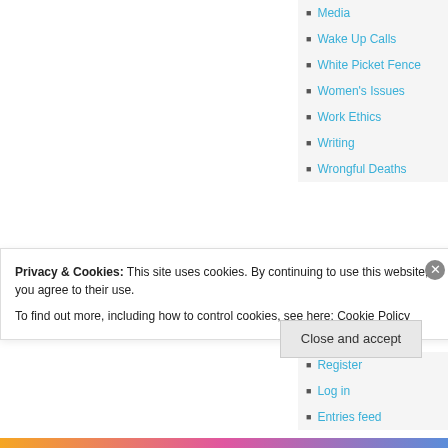Media
Wake Up Calls
White Picket Fence
Women's Issues
Work Ethics
Writing
Wrongful Deaths
Meta
Register
Log in
Entries feed
Privacy & Cookies: This site uses cookies. By continuing to use this website, you agree to their use.
To find out more, including how to control cookies, see here: Cookie Policy
Close and accept